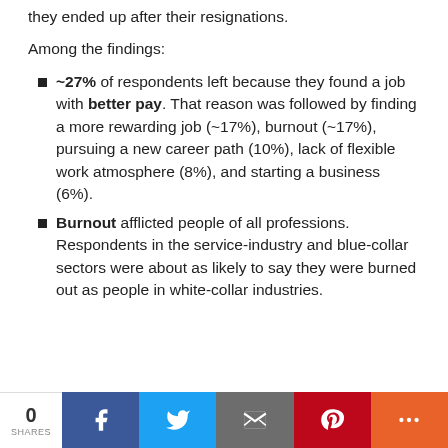they ended up after their resignations.
Among the findings:
~27% of respondents left because they found a job with better pay. That reason was followed by finding a more rewarding job (~17%), burnout (~17%), pursuing a new career path (10%), lack of flexible work atmosphere (8%), and starting a business (6%).
Burnout afflicted people of all professions. Respondents in the service-industry and blue-collar sectors were about as likely to say they were burned out as people in white-collar industries.
0 SHARES | Facebook | Twitter | Email | Pinterest | More